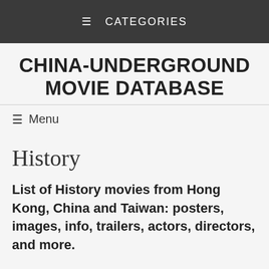≡ CATEGORIES
CHINA-UNDERGROUND MOVIE DATABASE
≡ Menu
History
List of History movies from Hong Kong, China and Taiwan: posters, images, info, trailers, actors, directors, and more.